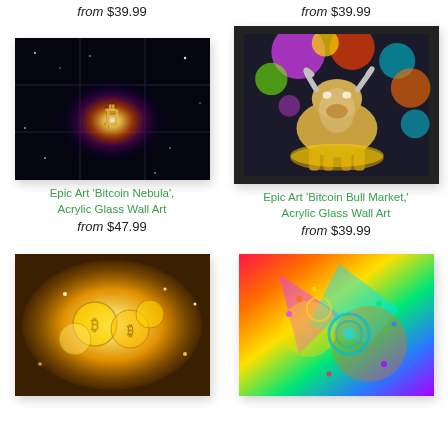from $39.99
from $39.99
[Figure (photo): Epic Art Bitcoin Nebula acrylic glass wall art showing a galaxy nebula with Bitcoin symbol in center, mounted on dark panel grid]
[Figure (photo): Epic Art Bitcoin Bull Market acrylic glass wall art showing a golden charging bull statue against colorful graffiti splatter background]
Epic Art 'Bitcoin Nebula', Acrylic Glass Wall Art
from $47.99
Epic Art 'Bitcoin Bull Market,' Acrylic Glass Wall Art
from $39.99
[Figure (photo): Epic Art wall art showing gold Bitcoin coins glittering with sparkles]
[Figure (photo): Epic Art colorful abstract wall art with rainbow colors and geometric patterns with Bitcoin motif]